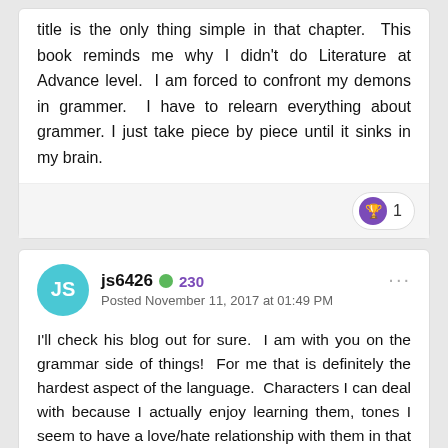title is the only thing simple in that chapter.  This book reminds me why I didn't do Literature at Advance level.  I am forced to confront my demons in grammer.  I have to relearn everything about grammer. I just take piece by piece until it sinks in my brain.
[Figure (other): Reaction badge with trophy icon and count of 1]
js6426 ● 230
Posted November 11, 2017 at 01:49 PM
I'll check his blog out for sure.  I am with you on the grammar side of things!  For me that is definitely the hardest aspect of the language.  Characters I can deal with because I actually enjoy learning them, tones I seem to have a love/hate relationship with them in that I think they are easy enough, I just seem to get them wrong a lot and struggle with distinguishing them, but they stay fairly constant.  The grammar is the most tedious and difficult thing for me, and I long for the day when it will just flow without any conscious effort as I have been over it that many times, but I think that is a LONG way off, and I don't doubt that books like this will be a huge help on the road to that.